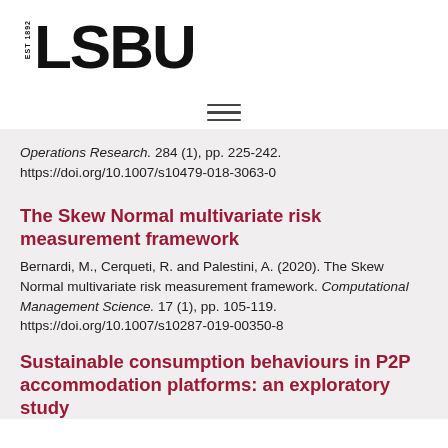[Figure (logo): LSBU logo with EST 1892 text and bold LSBU letters]
[Figure (other): Hamburger/menu icon with three horizontal lines]
Operations Research. 284 (1), pp. 225-242. https://doi.org/10.1007/s10479-018-3063-0
The Skew Normal multivariate risk measurement framework
Bernardi, M., Cerqueti, R. and Palestini, A. (2020). The Skew Normal multivariate risk measurement framework. Computational Management Science. 17 (1), pp. 105-119. https://doi.org/10.1007/s10287-019-00350-8
Sustainable consumption behaviours in P2P accommodation platforms: an exploratory study